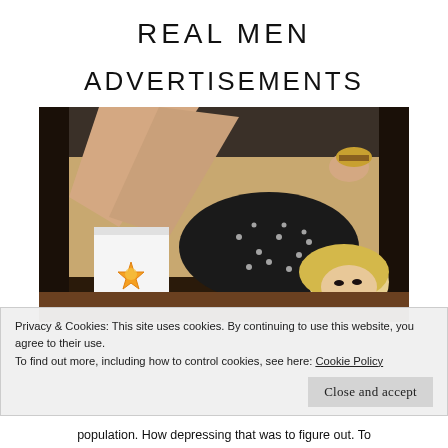REAL MEN
ADVERTISEMENTS
[Figure (photo): A blonde woman in a black polka-dot dress lying in the back seat of a car, holding a burger, with a fast food bag featuring a yellow star logo visible beside her.]
Privacy & Cookies: This site uses cookies. By continuing to use this website, you agree to their use.
To find out more, including how to control cookies, see here: Cookie Policy
population. How depressing that was to figure out. To